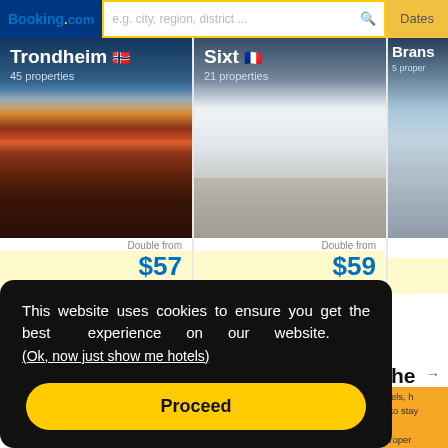Booking.com | e.g. city, region, district ... | Dates
[Figure (photo): Trondheim city photo with colorful buildings by a waterfront, Norwegian flag icon, showing 45 properties]
[Figure (photo): Sixt mountain/ski resort photo with snowy slopes, French flag icon, showing 21 properties]
[Figure (photo): Branson partial photo with boats on water, showing 5 properties (partially visible)]
Double from $57
Double from $59
← all inclusive holidays kerala    all inclusive holidays new york
This website uses cookies to ensure you get the best experience on our website. (Ok, now just show me hotels)
Proceed